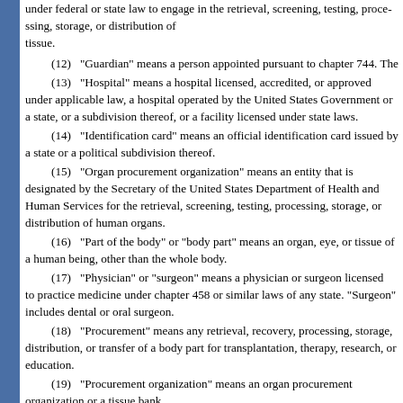under federal or state law to engage in the retrieval, screening, testing, processing, storage, or distribution of tissue.
(12) “Guardian” means a person appointed pursuant to chapter 744. The
(13) “Hospital” means a hospital licensed, accredited, or approved under applicable law, a hospital operated by the United States Government or a state, or a subdivision thereof, or a facility licensed under state laws.
(14) “Identification card” means an official identification card issued by a state or a political subdivision thereof.
(15) “Organ procurement organization” means an entity that is designated by the Secretary of the United States Department of Health and Human Services for the retrieval, screening, testing, processing, storage, or distribution of human organs.
(16) “Part of the body” or “body part” means an organ, eye, or tissue of a human being, other than the whole body.
(17) “Physician” or “surgeon” means a physician or surgeon licensed to practice medicine under chapter 458 or similar laws of any state. “Surgeon” includes dental or oral surgeon.
(18) “Procurement” means any retrieval, recovery, processing, storage, distribution, or transfer of a body part for transplantation, therapy, research, or education.
(19) “Procurement organization” means an organ procurement organization or a tissue bank.
(20) “Reasonably available” means able to be contacted by a procurement organization without undue effort, and willing and able to act in a manner consistent with existing law relating to the making of an anatomical gift.
(21) “Record” means information that is inscribed on a tangible medium or that is stored in an electronic or other medium and is retrievable in perceivable form.